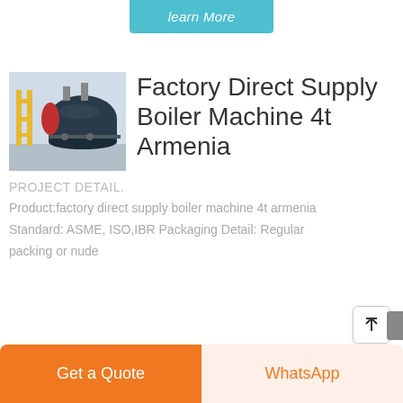learn More
[Figure (photo): Industrial boiler machine in a factory setting, with yellow piping and a dark cylindrical vessel]
Factory Direct Supply Boiler Machine 4t Armenia
PROJECT DETAIL. Product:factory direct supply boiler machine 4t armenia Standard: ASME, ISO,IBR Packaging Detail: Regular packing or nude
Get a Quote | WhatsApp